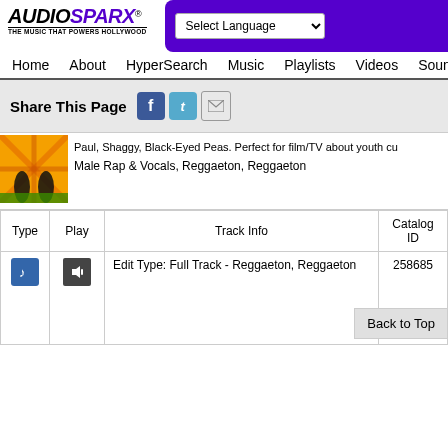AUDIOSPARX® — THE MUSIC THAT POWERS HOLLYWOOD
Select Language
Home  About  HyperSearch  Music  Playlists  Videos  Sound
Share This Page
Paul, Shaggy, Black-Eyed Peas. Perfect for film/TV about youth cu
Male Rap & Vocals, Reggaeton, Reggaeton
| Type | Play | Track Info | Catalog ID |
| --- | --- | --- | --- |
| [note icon] | [speaker icon] | Edit Type: Full Track - Reggaeton, Reggaeton | 258685 |
Back to Top